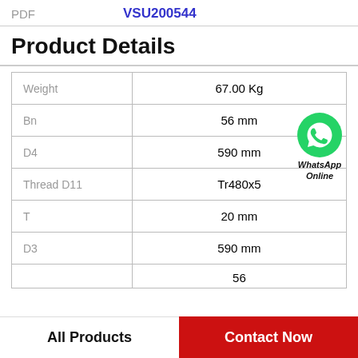PDF   VSU200544
Product Details
| Property | Value |
| --- | --- |
| Weight | 67.00 Kg |
| Bn | 56 mm |
| D4 | 590 mm |
| Thread D11 | Tr480x5 |
| T | 20 mm |
| D3 | 590 mm |
|  | 56 |
[Figure (logo): WhatsApp Online logo with green circle phone icon and italic bold text 'WhatsApp Online']
All Products   Contact Now